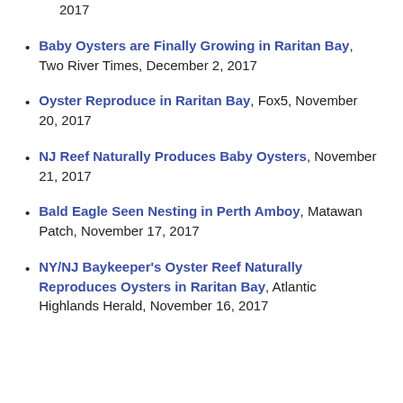2017 (fragment/continuation)
Baby Oysters are Finally Growing in Raritan Bay, Two River Times, December 2, 2017
Oyster Reproduce in Raritan Bay, Fox5, November 20, 2017
NJ Reef Naturally Produces Baby Oysters, November 21, 2017
Bald Eagle Seen Nesting in Perth Amboy, Matawan Patch, November 17, 2017
NY/NJ Baykeeper's Oyster Reef Naturally Reproduces Oysters in Raritan Bay, Atlantic Highlands Herald, November 16, 2017